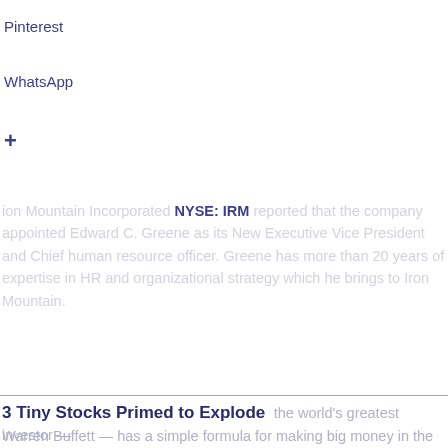Pinterest
WhatsApp
+
Iron Mountain Incorporated NYSE: IRM reported that the company appointed Edward C. Greene as its New Executive Vice President and Chief human resource officer. Greene has more than 20 years of expertise in HR and organizational strategy which he brings to Iron Mountain.
3 Tiny Stocks Primed to Explode
the world's greatest investor — Warren Buffett — has a simple formula for making big money in the markets. He buys up valuable assets when they are very cheap. For stock market investors that means buying up cheap small cap stocks like it say with huge upside potential.